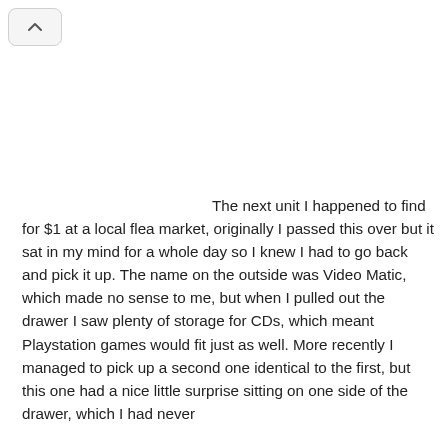The next unit I happened to find for $1 at a local flea market, originally I passed this over but it sat in my mind for a whole day so I knew I had to go back and pick it up. The name on the outside was Video Matic, which made no sense to me, but when I pulled out the drawer I saw plenty of storage for CDs, which meant Playstation games would fit just as well. More recently I managed to pick up a second one identical to the first, but this one had a nice little surprise sitting on one side of the drawer, which I had never